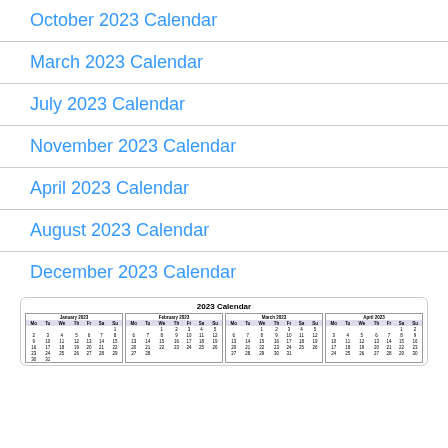October 2023 Calendar
March 2023 Calendar
July 2023 Calendar
November 2023 Calendar
April 2023 Calendar
August 2023 Calendar
December 2023 Calendar
[Figure (other): 2023 Calendar yearly preview showing January, February, March, April 2023 mini calendars in a grid layout]